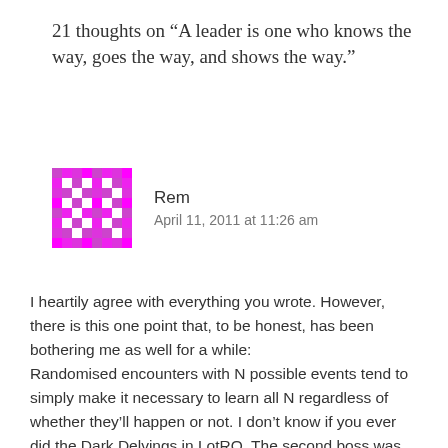21 thoughts on “A leader is one who knows the way, goes the way, and shows the way.”
[Figure (illustration): Magenta/pink pixel-art avatar image for user Rem]
Rem
April 11, 2011 at 11:26 am
I heartily agree with everything you wrote. However, there is this one point that, to be honest, has been bothering me as well for a while:
Randomised encounters with N possible events tend to simply make it necessary to learn all N regardless of whether they’ll happen or not. I don’t know if you ever did the Dark Delvings in LotRO. The second boss was renowned and infamous – he would summon adds out of a pool of 4 different sets at random. Really random, not just random order, and not necessarily 4 waves either (I think it was time-